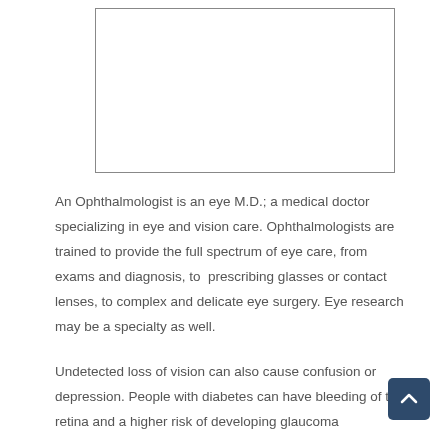[Figure (other): White rectangular image placeholder with border, appears to be an empty image or photo area]
An Ophthalmologist is an eye M.D.; a medical doctor specializing in eye and vision care. Ophthalmologists are trained to provide the full spectrum of eye care, from exams and diagnosis, to  prescribing glasses or contact lenses, to complex and delicate eye surgery. Eye research may be a specialty as well.
Undetected loss of vision can also cause confusion or depression. People with diabetes can have bleeding of the retina and a higher risk of developing glaucoma